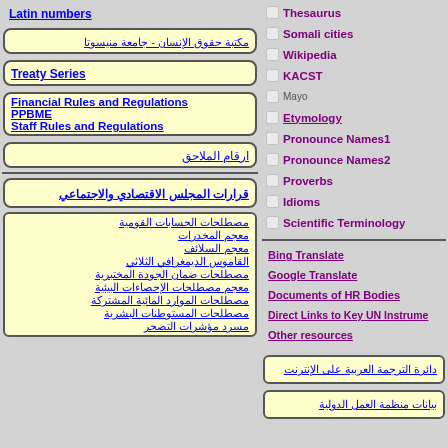Latin numbers
مكتبة حقوق الإنسان - جامعة منيسوتا
Treaty Series
Financial Rules and Regulations
PPBME
Staff Rules and Regulations
ارقام الملاحق
Thesaurus
Somali cities
Wikipedia
KACST
Mayo
Etymology
Pronounce Names1
Pronounce Names2
Proverbs
Idioms
Scientific Terminology
قرارات المجلس الاقتصادي والاجتماعي
Bing Translate
Google Translate
Documents of HR Bodies
Direct Links to Key UN Instruments
Other resources
مصطلحات الحسابات القومية
معجم المخدرات
معجم السلائف
القاموس الديمغرافي الثلاثي
مصطلحات ضمان الجودة المختبرية
معجم مصطلحات الإحصاءات البيئية
مصطلحات الموارد المائية المشتركة
مصطلحات المستوطنات البشرية
مسرد مؤشرات التصحر
دائرة الترجمة العربية على الإنترنت
بيانات منظمة العمل الدولية